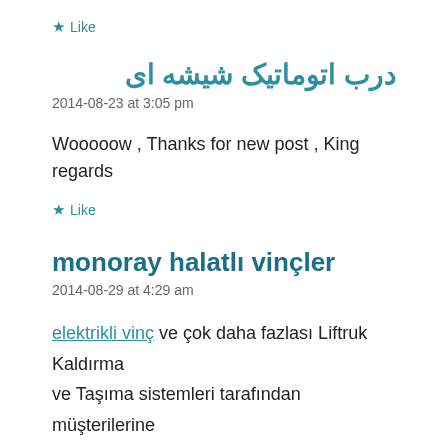★ Like
درب اتوماتیک شیشه ای
2014-08-23 at 3:05 pm
Wooooow , Thanks for new post , King regards
★ Like
monoray halatlı vinçler
2014-08-29 at 4:29 am
elektrikli vinç ve çok daha fazlası Liftruk Kaldırma ve Taşıma sistemleri tarafından müşterilerine